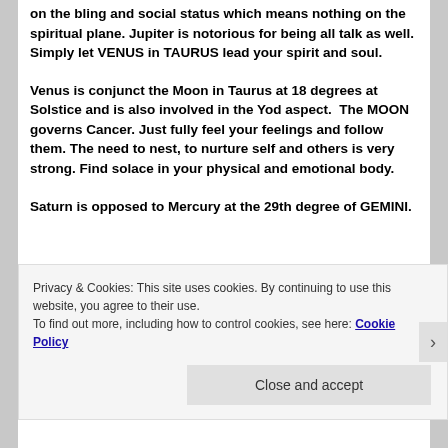on the bling and social status which means nothing on the spiritual plane. Jupiter is notorious for being all talk as well.  Simply let VENUS in TAURUS lead your spirit and soul.
Venus is conjunct the Moon in Taurus at 18 degrees at Solstice and is also involved in the Yod aspect.  The MOON governs Cancer. Just fully feel your feelings and follow them. The need to nest, to nurture self and others is very strong. Find solace in your physical and emotional body.
Saturn is opposed to Mercury at the 29th degree of GEMINI.
Privacy & Cookies: This site uses cookies. By continuing to use this website, you agree to their use.
To find out more, including how to control cookies, see here: Cookie Policy